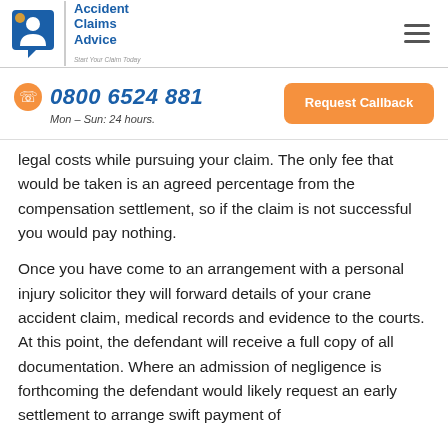Accident Claims Advice — Start Your Claim Today | 0800 6524 881 Mon – Sun: 24 hours.
legal costs while pursuing your claim. The only fee that would be taken is an agreed percentage from the compensation settlement, so if the claim is not successful you would pay nothing.
Once you have come to an arrangement with a personal injury solicitor they will forward details of your crane accident claim, medical records and evidence to the courts. At this point, the defendant will receive a full copy of all documentation. Where an admission of negligence is forthcoming the defendant would likely request an early settlement to arrange swift payment of